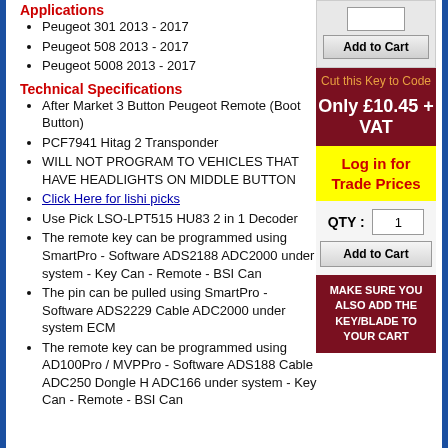Applications
Peugeot 301 2013 - 2017
Peugeot 508 2013 - 2017
Peugeot 5008 2013 - 2017
Technical Specifications
After Market 3 Button Peugeot Remote (Boot Button)
PCF7941 Hitag 2 Transponder
WILL NOT PROGRAM TO VEHICLES THAT HAVE HEADLIGHTS ON MIDDLE BUTTON
Click Here for lishi picks
Use Pick LSO-LPT515 HU83 2 in 1 Decoder
The remote key can be programmed using SmartPro - Software ADS2188 ADC2000 under system - Key Can - Remote - BSI Can
The pin can be pulled using SmartPro - Software ADS2229 Cable ADC2000 under system ECM
The remote key can be programmed using AD100Pro / MVPPro - Software ADS188 Cable ADC250 Dongle H ADC166 under system - Key Can - Remote - BSI Can
Cut this Key to Code
Only £10.45 + VAT
Log in for Trade Prices
QTY : 1
Add to Cart
MAKE SURE YOU ALSO ADD THE KEY/BLADE TO YOUR CART